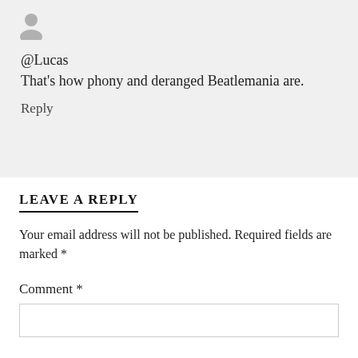[Figure (illustration): User avatar silhouette icon (grey person placeholder)]
@Lucas
That's how phony and deranged Beatlemania are.
Reply
LEAVE A REPLY
Your email address will not be published. Required fields are marked *
Comment *